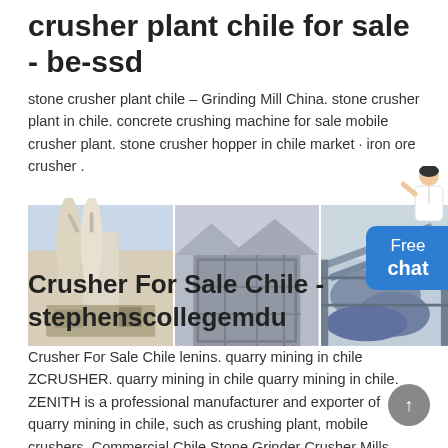crusher plant chile for sale - be-ssd
stone crusher plant chile – Grinding Mill China. stone crusher plant in chile. concrete crushing machine for sale mobile crusher plant. stone crusher hopper in chile market · iron ore crusher .
[Figure (photo): Three industrial crusher/mill plant photos side by side with a 'Free chat' button overlay and a customer service person in the top right corner]
Crusher For Sale Chile - stephenscollegemdu
Crusher For Sale Chile lenins. quarry mining in chile ZCRUSHER. quarry mining in chile quarry mining in chile. ZENITH is a professional manufacturer and exporter of quarry mining in chile, such as crushing plant, mobile crushers. Commercial Chile Stone Grinder Crusher Mills,